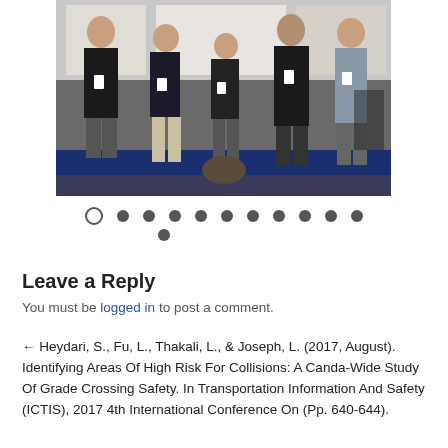[Figure (photo): Group photo of five researchers wearing conference lanyards/badges, standing in front of poster boards at a conference venue with a blue draped table in the background.]
Carousel navigation dots (one open circle followed by ten filled circles, then one filled circle on a second row)
Leave a Reply
You must be logged in to post a comment.
← Heydari, S., Fu, L., Thakali, L., & Joseph, L. (2017, August). Identifying Areas Of High Risk For Collisions: A Canda-Wide Study Of Grade Crossing Safety. In Transportation Information And Safety (ICTIS), 2017 4th International Conference On (Pp. 640-644).